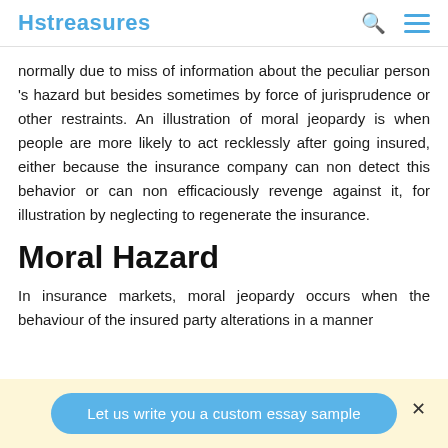Hstreasures
normally due to miss of information about the peculiar person 's hazard but besides sometimes by force of jurisprudence or other restraints. An illustration of moral jeopardy is when people are more likely to act recklessly after going insured, either because the insurance company can non detect this behavior or can non efficaciously revenge against it, for illustration by neglecting to regenerate the insurance.
Moral Hazard
In insurance markets, moral jeopardy occurs when the behaviour of the insured party alterations in a manner
Let us write you a custom essay sample